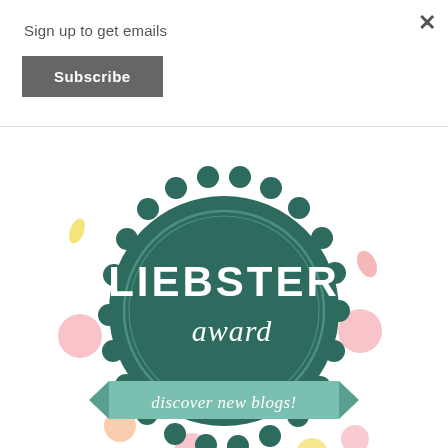Sign up to get emails
Subscribe
post!
[Figure (illustration): Liebster Award badge — a dark teal scalloped circular seal with the text 'LIEBSTER' in large bold white letters, 'award' in white script, and a teal ribbon banner at the bottom reading 'discover new blogs!' in white script. Scattered around the badge are colorful confetti dots in pink, peach, yellow, and coral colors.]